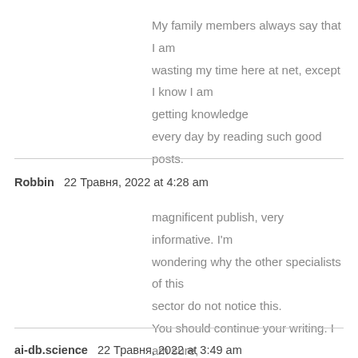My family members always say that I am wasting my time here at net, except I know I am getting knowledge every day by reading such good posts.
Robbin  22 Травня, 2022 at 4:28 am
magnificent publish, very informative. I'm wondering why the other specialists of this sector do not notice this. You should continue your writing. I am sure, you've a great readers' base already!
ai-db.science  22 Травня, 2022 at 3:49 am